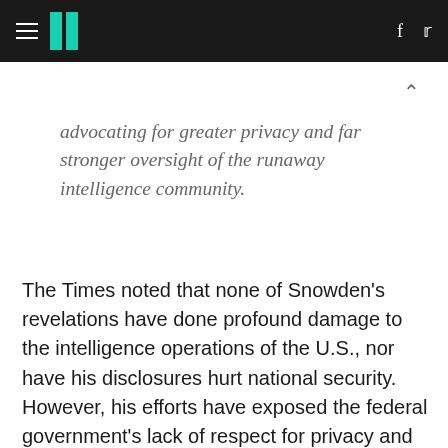HuffPost
advocating for greater privacy and far stronger oversight of the runaway intelligence community.
The Times noted that none of Snowden's revelations have done profound damage to the intelligence operations of the U.S., nor have his disclosures hurt national security. However, his efforts have exposed the federal government's lack of respect for privacy and constitutional protections.